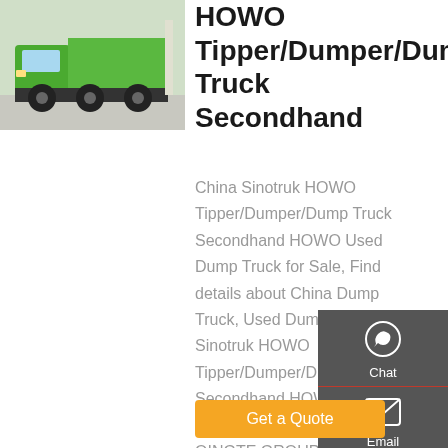[Figure (photo): Green HOWO dump truck photographed at an exhibition or outdoor setting]
HOWO Tipper/Dumper/Dump Truck Secondhand
China Sinotruk HOWO Tipper/Dumper/Dump Truck Secondhand HOWO Used Dump Truck for Sale, Find details about China Dump Truck, Used Dump Truck from Sinotruk HOWO Tipper/Dumper/Dump Truck Secondhand HOWO Used Dump Truck for Sale - QINGTE GROUP SPECIAL VEHICLES CO., LIMITED
Get a Quote